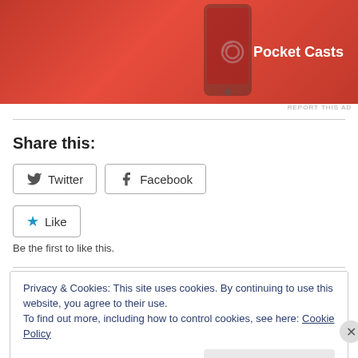[Figure (photo): Pocket Casts advertisement banner with red background, phone device visible, and Pocket Casts logo and text in white]
REPORT THIS AD
Share this:
Twitter  Facebook
Like
Be the first to like this.
Privacy & Cookies: This site uses cookies. By continuing to use this website, you agree to their use.
To find out more, including how to control cookies, see here: Cookie Policy
Close and accept